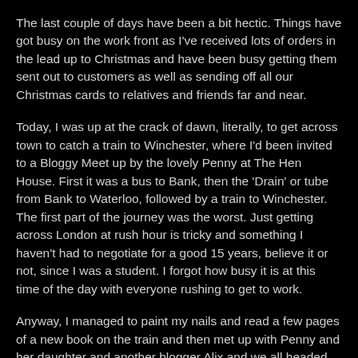The last couple of days have been a bit hectic.  Things have got busy on the work front as I've received lots of orders in the lead up to Christmas and have been busy getting them sent out to customers as well as sending off all our Christmas cards to relatives and friends far and near.
Today, I was up at the crack of dawn, literally, to get across town to catch a train to Winchester, where I'd been invited to a Bloggy Meet up by the lovely Penny at The Hen House.  First it was a bus to Bank, then the 'Drain' or tube from Bank to Waterloo, followed by a train to Winchester.  The first part of the journey was the worst.  Just getting across London at rush hour is tricky and something I haven't had to negotiate for a good 15 years, believe it or not, since I was a student.  I forgot how busy it is at this time of the day with everyone rushing to get to work.
Anyway, I managed to paint my nails and read a few pages of a new book on the train and then met up with Penny and her daughter and another blogger Alix and we all headed into town.  It was lovely to meet her in person, although I was